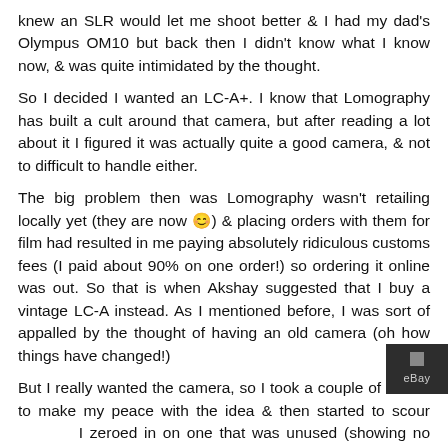knew an SLR would let me shoot better & I had my dad's Olympus OM10 but back then I didn't know what I know now, & was quite intimidated by the thought.
So I decided I wanted an LC-A+. I know that Lomography has built a cult around that camera, but after reading a lot about it I figured it was actually quite a good camera, & not to difficult to handle either.
The big problem then was Lomography wasn't retailing locally yet (they are now 😊) & placing orders with them for film had resulted in me paying absolutely ridiculous customs fees (I paid about 90% on one order!) so ordering it online was out. So that is when Akshay suggested that I buy a vintage LC-A instead. As I mentioned before, I was sort of appalled by the thought of having an old camera (oh how things have changed!)
But I really wanted the camera, so I took a couple of weeks to make my peace with the idea & then started to scour eBay. I zeroed in on one that was unused (showing no cosmetic signs of